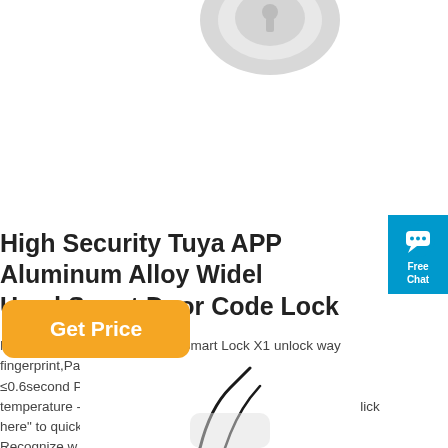[Figure (photo): Partial top view of a smart door lock device on white background]
[Figure (other): Blue chat widget button with speech bubble icon, 'Free Chat' label]
High Security Tuya APP Aluminum Alloy Widely Used Smart Door Code Lock
Model X1 Product name Tuya Smart Lock X1 unlock way fingerprint,Password,Card,key,App Fingerprint contrast time ≤0.6second Power type 6V Human voice Yes Working temperature -25°C ~60°C "Click here" to quickest replies! "Click here" to quickest replies! Dedicated Fingerprint recognition Recognize w...
[Figure (other): Orange rounded rectangle button labeled 'Get Price']
[Figure (photo): Partial bottom view of a smart door lock device on white background]